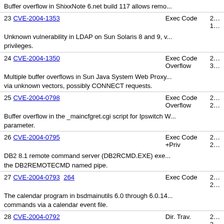Buffer overflow in ShixxNote 6.net build 117 allows remo...
23 CVE-2004-1353  Exec Code  2...  1...
Unknown vulnerability in LDAP on Sun Solaris 8 and 9, v... privileges.
24 CVE-2004-1350  Exec Code  2...  Overflow  3...
Multiple buffer overflows in Sun Java System Web Proxy... via unknown vectors, possibly CONNECT requests.
25 CVE-2004-0798  Exec Code  2...  Overflow  2...
Buffer overflow in the _maincfgret.cgi script for Ipswitch W... parameter.
26 CVE-2004-0795  Exec Code  2...  +Priv  2...
DB2 8.1 remote command server (DB2RCMD.EXE) exe... the DB2REMOTECMD named pipe.
27 CVE-2004-0793 264  Exec Code  2...  2...
The calendar program in bsdmainutils 6.0 through 6.0.14... commands via a calendar event file.
28 CVE-2004-0792  Dir. Trav.  2...  2...